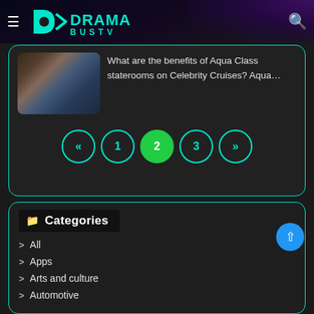DramaBusTV
[Figure (screenshot): Cruise ship stateroom bedroom with ocean view balcony]
What are the benefits of Aqua Class staterooms on Celebrity Cruises? Aqua…
[Figure (other): Pagination navigation with buttons: «, 1, 2 (active/green), 3, »]
Categories
All
Apps
Arts and culture
Automotive